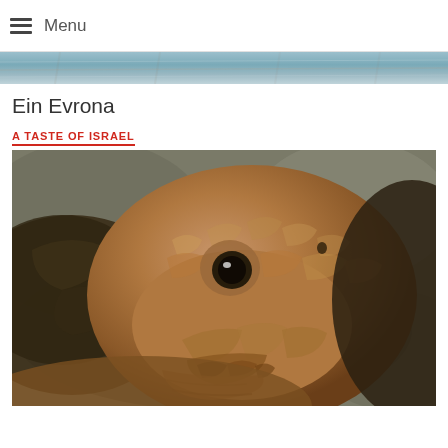Menu
[Figure (photo): Narrow horizontal banner image showing a wooden surface or similar texture in muted blue-grey tones]
Ein Evrona
A TASTE OF ISRAEL
[Figure (photo): Close-up photograph of a tortoise face, showing detailed scaly skin texture in brown and tan tones, with one visible eye, set against a blurred rocky background]